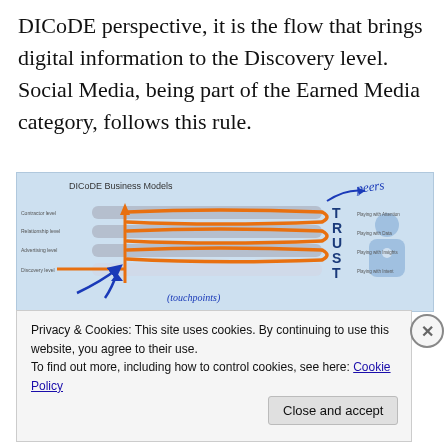DICoDE perspective, it is the flow that brings digital information to the Discovery level. Social Media, being part of the Earned Media category, follows this rule.
[Figure (infographic): DICoDE Business Models diagram showing layered horizontal arrow bands (orange spiral flow lines) passing through TRUST levels (T, R, U, S, T) with a person/user icon on right side, annotated with handwritten blue text 'peers' and '(touchpoints)' and blue arrow annotations]
Privacy & Cookies: This site uses cookies. By continuing to use this website, you agree to their use.
To find out more, including how to control cookies, see here: Cookie Policy
Close and accept